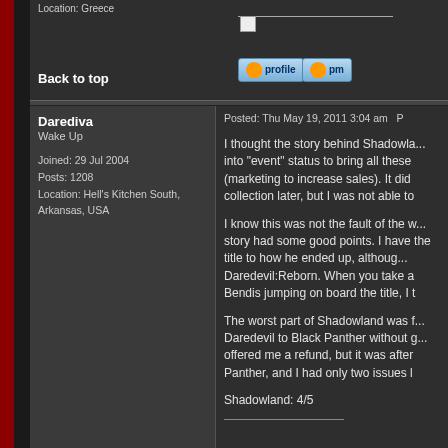Location: Greece
Back to top
profile   pm
Darediva
Wake Up

Joined: 29 Jul 2004
Posts: 1208
Location: Hell's Kitchen South, Arkansas, USA
Posted: Thu May 19, 2011 3:04 am
I thought the story behind Shadowla... into "event" status to bring all these (marketing to increase sales). It did collection later, but I was not able to
I know this was not the fault of the w... story had some good points. I have the title to how he ended up, althoug... Daredevil:Reborn. When you take a Bendis jumping on board the title, I t
The worst part of Shadowland was f... Daredevil to Black Panther without g... offered me a refund, but it was after Panther, and I had only two issues l
Shadowland: 4/5